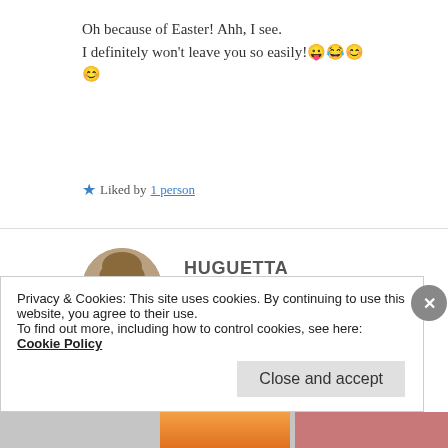Oh because of Easter! Ahh, I see.
I definitely won't leave you so easily!😛😂😊
😊
★ Liked by 1 person
HUGUETTA
18 Apr 2019 at 6:11 pm
Privacy & Cookies: This site uses cookies. By continuing to use this website, you agree to their use.
To find out more, including how to control cookies, see here: Cookie Policy
Close and accept